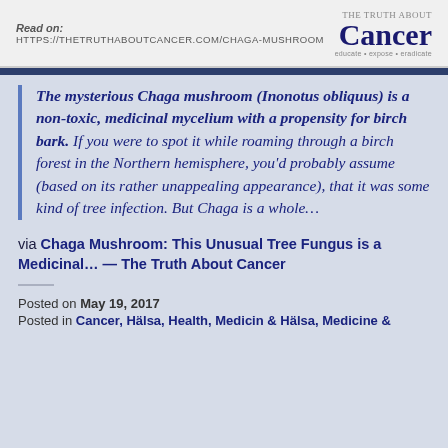Read on: HTTPS://THETRUTHABOUTCANCER.COM/CHAGA-MUSHROOM | The Truth About Cancer — educate • expose • eradicate
The mysterious Chaga mushroom (Inonotus obliquus) is a non-toxic, medicinal mycelium with a propensity for birch bark. If you were to spot it while roaming through a birch forest in the Northern hemisphere, you'd probably assume (based on its rather unappealing appearance), that it was some kind of tree infection. But Chaga is a whole…
via Chaga Mushroom: This Unusual Tree Fungus is a Medicinal… — The Truth About Cancer
Posted on May 19, 2017
Posted in Cancer, Hälsa, Health, Medicin & Hälsa, Medicine &